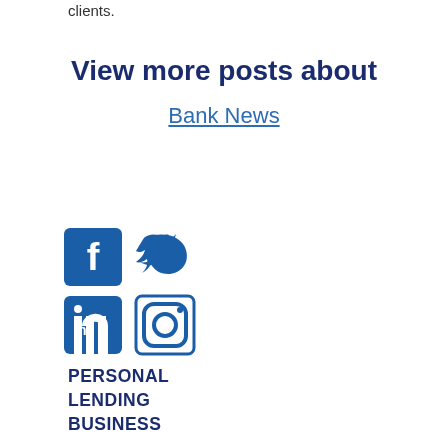clients.
View more posts about
Bank News
[Figure (illustration): Social media icons: Facebook, Twitter, LinkedIn, Instagram — all in dark blue]
PERSONAL
LENDING
BUSINESS
WEALTH MANAGEMENT
RESOURCE CENTER
CONNECT